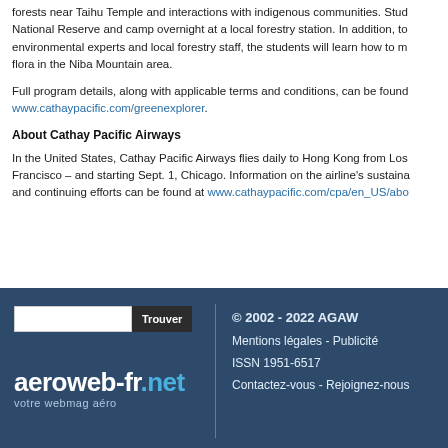forests near Taihu Temple and interactions with indigenous communities. Students will visit the National Reserve and camp overnight at a local forestry station. In addition, together with environmental experts and local forestry staff, the students will learn how to monitor fauna and flora in the Niba Mountain area.
Full program details, along with applicable terms and conditions, can be found at www.cathaypacific.com/greenexplorer.
About Cathay Pacific Airways
In the United States, Cathay Pacific Airways flies daily to Hong Kong from Los Angeles, San Francisco – and starting Sept. 1, Chicago. Information on the airline's sustainability initiatives and continuing efforts can be found at www.cathaypacific.com/cpa/en_US/abo...
© 2002 - 2022 AGAW | Mentions légales - Publicité | ISSN 1951-6517 | Contactez-nous - Rejoignez-nous | aeroweb-fr.net votre webmag aéro